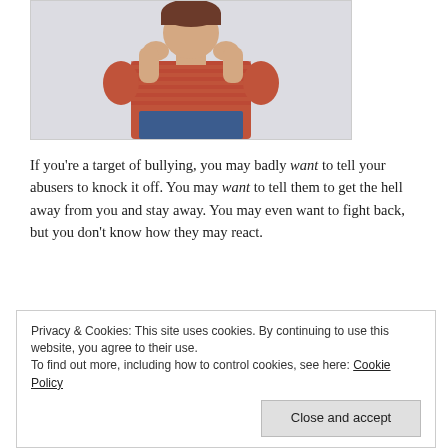[Figure (photo): A young woman in a red striped top and jeans, with both hands raised near her face, against a light gray background.]
If you’re a target of bullying, you may badly want to tell your abusers to knock it off. You may want to tell them to get the hell away from you and stay away. You may even want to fight back, but you don’t know how they may react.
Privacy & Cookies: This site uses cookies. By continuing to use this website, you agree to their use.
To find out more, including how to control cookies, see here: Cookie Policy
toward you for having the chutzpan to speak against